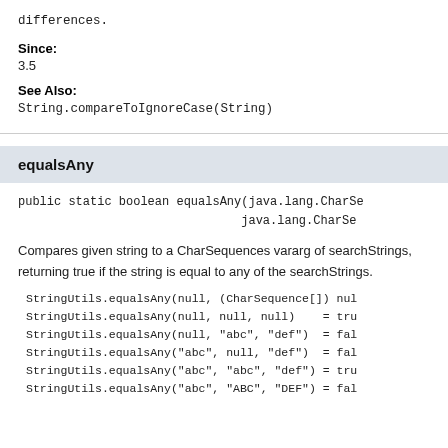differences.
Since:
3.5
See Also:
String.compareToIgnoreCase(String)
equalsAny
public static boolean equalsAny(java.lang.CharSe...
                               java.lang.CharSe...
Compares given string to a CharSequences vararg of searchStrings, returning true if the string is equal to any of the searchStrings.
StringUtils.equalsAny(null, (CharSequence[]) nul
StringUtils.equalsAny(null, null, null)    = tru
StringUtils.equalsAny(null, "abc", "def")  = fal
StringUtils.equalsAny("abc", null, "def")  = fal
StringUtils.equalsAny("abc", "abc", "def") = tru
StringUtils.equalsAny("abc", "ABC", "DEF") = fal